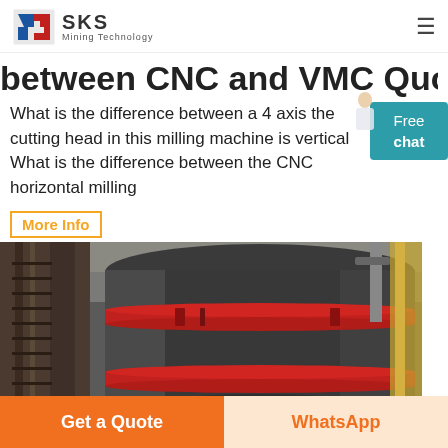SKS Mining Technology
between CNC and VMC Quora
What is the difference between a 4 axis the cutting head in this milling machine is vertical What is the difference between the CNC horizontal milling
More Info
[Figure (photo): Industrial mining machine - large cylindrical dark grey drum with red banding straps, photographed from below in a factory or warehouse setting.]
Get a Quote | WhatsApp